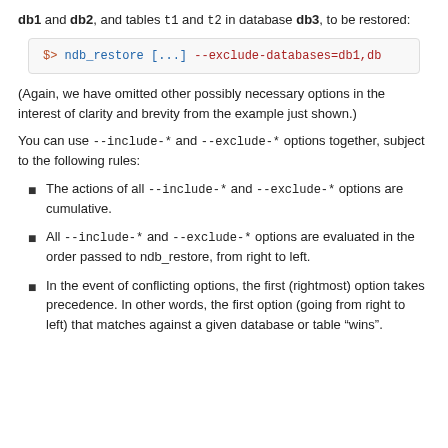db1 and db2, and tables t1 and t2 in database db3, to be restored:
[Figure (screenshot): Code box showing: $> ndb_restore [...] --exclude-databases=db1,db...]
(Again, we have omitted other possibly necessary options in the interest of clarity and brevity from the example just shown.)
You can use --include-* and --exclude-* options together, subject to the following rules:
The actions of all --include-* and --exclude-* options are cumulative.
All --include-* and --exclude-* options are evaluated in the order passed to ndb_restore, from right to left.
In the event of conflicting options, the first (rightmost) option takes precedence. In other words, the first option (going from right to left) that matches against a given database or table “wins”.